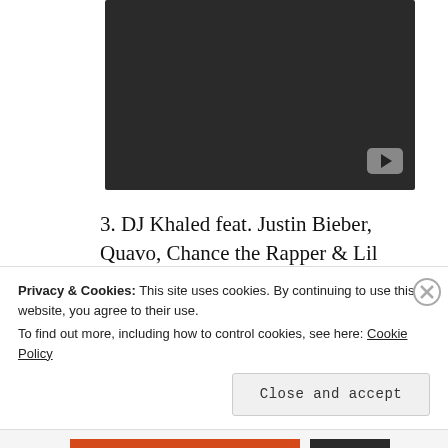[Figure (screenshot): Dark video player thumbnail with YouTube play button icon in bottom right corner]
3. DJ Khaled feat. Justin Bieber, Quavo, Chance the Rapper & Lil Wayne – I'm the One. No. 3 last week.
Privacy & Cookies: This site uses cookies. By continuing to use this website, you agree to their use.
To find out more, including how to control cookies, see here: Cookie Policy
Close and accept